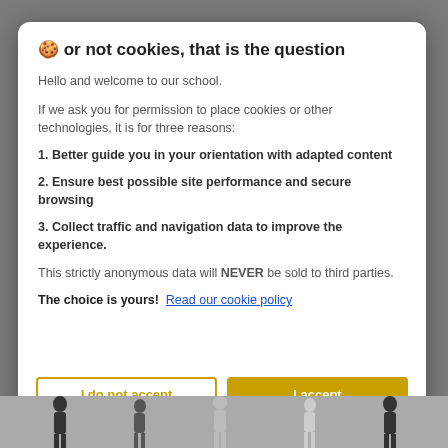🍪 or not cookies, that is the question
Hello and welcome to our school.
If we ask you for permission to place cookies or other technologies, it is for three reasons:
1. Better guide you in your orientation with adapted content
2. Ensure best possible site performance and secure browsing
3. Collect traffic and navigation data to improve the experience.
This strictly anonymous data will NEVER be sold to third parties.
The choice is yours!  Read our cookie policy